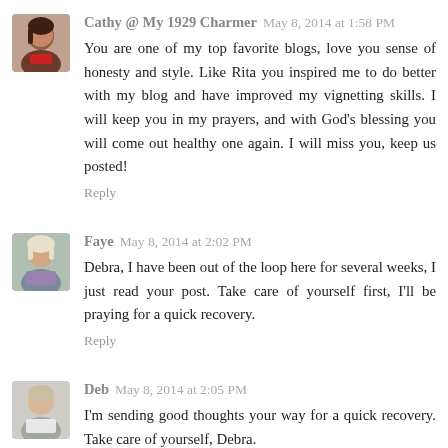[Figure (photo): Avatar photo of Cathy, a woman with dark hair]
Cathy @ My 1929 Charmer  May 8, 2014 at 1:58 PM
You are one of my top favorite blogs, love you sense of honesty and style. Like Rita you inspired me to do better with my blog and have improved my vignetting skills. I will keep you in my prayers, and with God's blessing you will come out healthy one again. I will miss you, keep us posted!
Reply
[Figure (photo): Avatar photo of Faye, a woman with light hair]
Faye  May 8, 2014 at 2:02 PM
Debra, I have been out of the loop here for several weeks, I just read your post. Take care of yourself first, I'll be praying for a quick recovery.
Reply
[Figure (photo): Avatar photo of Deb]
Deb  May 8, 2014 at 2:05 PM
I'm sending good thoughts your way for a quick recovery. Take care of yourself, Debra.